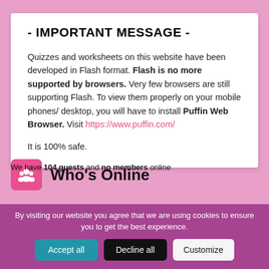- IMPORTANT MESSAGE -
Quizzes and worksheets on this website have been developed in Flash format. Flash is no more supported by browsers. Very few browsers are still supporting Flash. To view them properly on your mobile phones/ desktop, you will have to install Puffin Web Browser. Visit https://www.puffin.com/
It is 100% safe.
Who's Online
We have 104 guests and no members online
By visiting our website you agree that we are using cookies to ensure you to get the best experience.
Accept all   Decline all   Customize